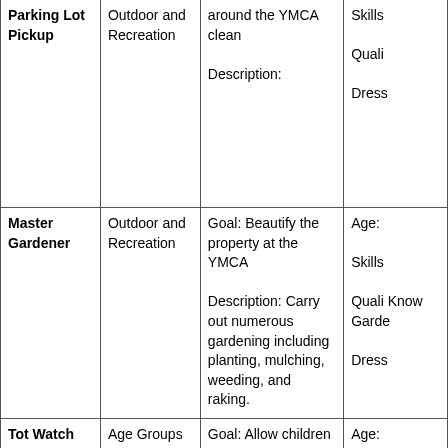| Position | Category | Details | Requirements |
| --- | --- | --- | --- |
| Parking Lot Pickup | Outdoor and Recreation | around the YMCA clean

Description: | Skills

Quali

Dress |
| Master Gardener | Outdoor and Recreation | Goal: Beautify the property at the YMCA

Description: Carry out numerous gardening including planting, mulching, weeding, and raking. | Age:

Skills

Quali Know Garde

Dress |
| Tot Watch | Age Groups | Goal: Allow children to play in a supervised area while parents workout, swim or enjoy other activities at the YMCA.
Description: Need volunteer supervisors who are passionate about working with kids. | Age:

Skills

Quali

Dress |